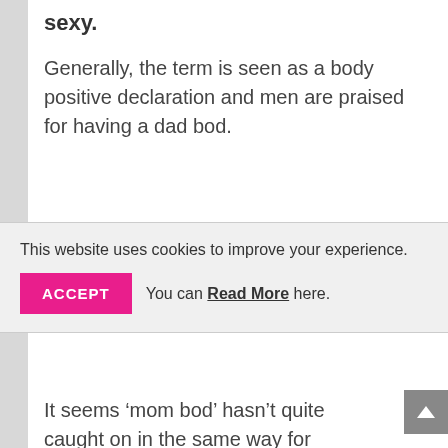sexy.
Generally, the term is seen as a body positive declaration and men are praised for having a dad bod.
This website uses cookies to improve your experience. ACCEPT You can Read More here.
It seems ‘mom bod’ hasn’t quite caught on in the same way for women.
And, so, we’re left feeling inadequate if we don’t shed the baby weight before we